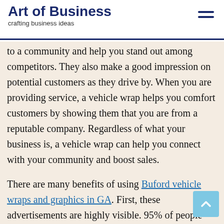Art of Business — crafting business ideas
to a community and help you stand out among competitors. They also make a good impression on potential customers as they drive by. When you are providing service, a vehicle wrap helps you comfort customers by showing them that you are from a reputable company. Regardless of what your business is, a vehicle wrap can help you connect with your community and boost sales.
There are many benefits of using Buford vehicle wraps and graphics in GA. First, these advertisements are highly visible. 95% of people will remember a vehicle advertisement within three